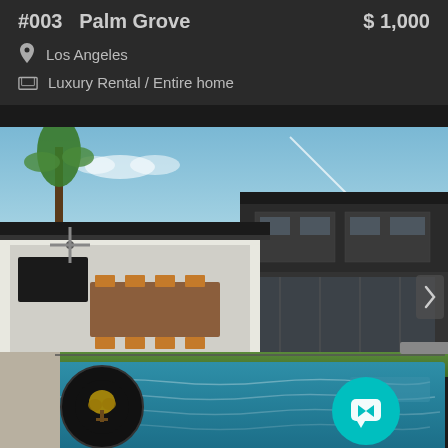#003  Palm Grove  $1,000
Los Angeles
Luxury Rental / Entire home
[Figure (photo): Luxury home exterior with swimming pool, outdoor dining area with ceiling fan, modern dark-clad two-story building, blue sky with palm trees in background. A teal chat button and a black tree logo circle overlay the photo.]